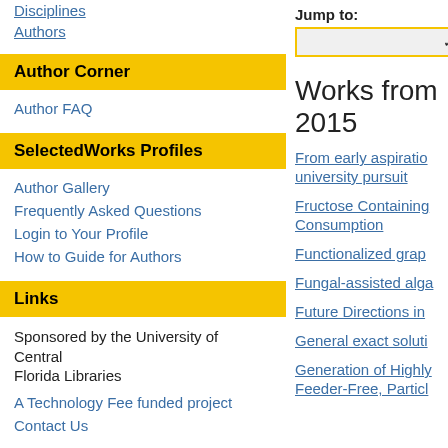Disciplines
Authors
Author Corner
Author FAQ
SelectedWorks Profiles
Author Gallery
Frequently Asked Questions
Login to Your Profile
How to Guide for Authors
Links
Sponsored by the University of Central Florida Libraries
A Technology Fee funded project
Contact Us
Jump to:
Works from 2015
From early aspiratio... university pursuit
Fructose Containing... Consumption
Functionalized grap...
Fungal-assisted alga...
Future Directions in...
General exact soluti...
Generation of Highly... Feeder-Free, Particl...